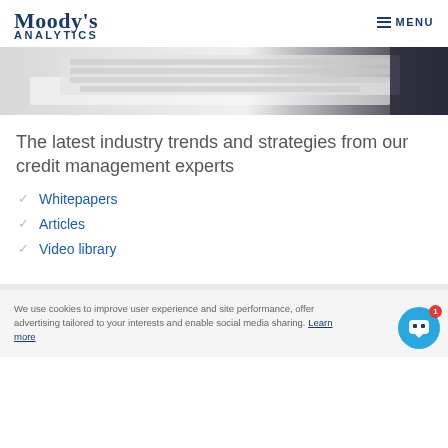Moody's Analytics
[Figure (photo): Close-up photo of a white keyboard on a white desk, with dark background on right edge]
The latest industry trends and strategies from our credit management experts
Whitepapers
Articles
Video library
We use cookies to improve user experience and site performance, offer advertising tailored to your interests and enable social media sharing. Learn more